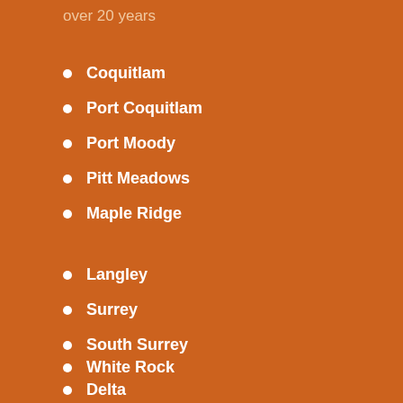over 20 years
Coquitlam
Port Coquitlam
Port Moody
Pitt Meadows
Maple Ridge
Langley
Surrey
South Surrey
White Rock
Delta
Vancouver